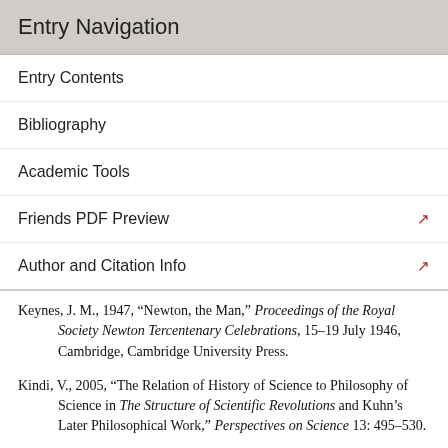Entry Navigation
Entry Contents
Bibliography
Academic Tools
Friends PDF Preview
Author and Citation Info
Keynes, J. M., 1947, “Newton, the Man,” Proceedings of the Royal Society Newton Tercentenary Celebrations, 15–19 July 1946, Cambridge, Cambridge University Press.
Kindi, V., 2005, “The Relation of History of Science to Philosophy of Science in The Structure of Scientific Revolutions and Kuhn’s Later Philosophical Work,” Perspectives on Science 13: 495–530.
——, 2010, “Novelty and Revolution in Art and Science: The Influence of Kuhn on Cavell,” Perspectives on